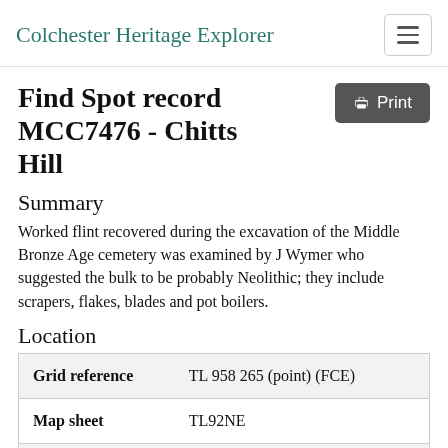Colchester Heritage Explorer
Find Spot record MCC7476 - Chitts Hill
Summary
Worked flint recovered during the excavation of the Middle Bronze Age cemetery was examined by J Wymer who suggested the bulk to be probably Neolithic; they include scrapers, flakes, blades and pot boilers.
Location
| Grid reference | TL 958 265 (point) (FCE) |
| --- | --- |
| Grid reference | TL 958 265 (point) (FCE) |
| Map sheet | TL92NE |